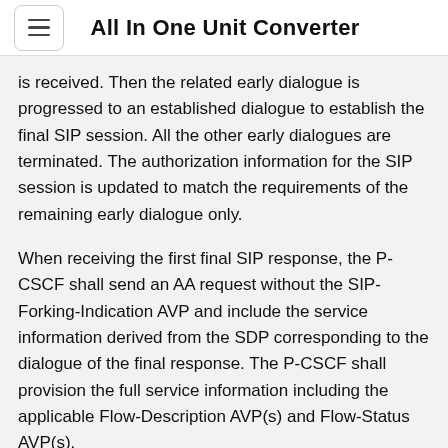All In One Unit Converter
is received. Then the related early dialogue is progressed to an established dialogue to establish the final SIP session. All the other early dialogues are terminated. The authorization information for the SIP session is updated to match the requirements of the remaining early dialogue only.
When receiving the first final SIP response, the P-CSCF shall send an AA request without the SIP-Forking-Indication AVP and include the service information derived from the SDP corresponding to the dialogue of the final response. The P-CSCF shall provision the full service information including the applicable Flow-Description AVP(s) and Flow-Status AVP(s).
When receiving an AA request with no SIP-Forking-